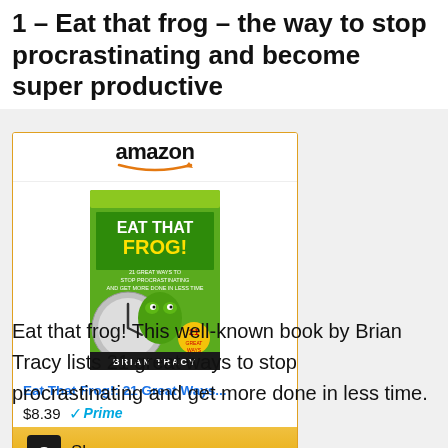1 – Eat that frog – the way to stop procrastinating and become super productive
[Figure (other): Amazon widget showing 'Eat That Frog!: 21 Great Ways...' book by Brian Tracy, priced at $8.39 with Prime badge, and a 'Shop now' button]
Eat that frog! This well-known book by Brian Tracy lists 21 great ways to stop procrastinating and get more done in less time.